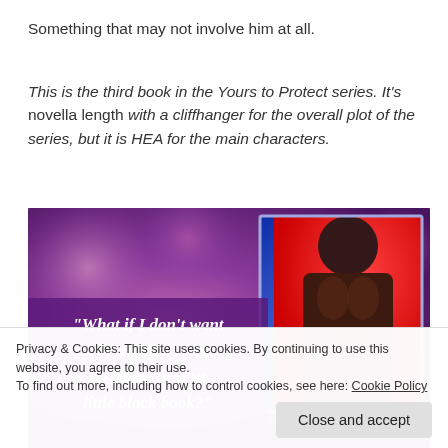Something that may not involve him at all.
This is the third book in the Yours to Protect series. It's novella length with a cliffhanger for the overall plot of the series, but it is HEA for the main characters.
[Figure (photo): Book promotional image with purple bokeh background and shirtless male model on right side. Large italic white quote text reads: "What if I don't want to be another name scribbled in your little black book?"]
Privacy & Cookies: This site uses cookies. By continuing to use this website, you agree to their use.
To find out more, including how to control cookies, see here: Cookie Policy
Close and accept